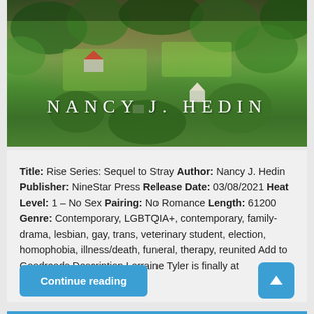[Figure (photo): Aerial/overhead view of rural landscape with green trees, fields, and farm buildings with red and white roofs. Author name 'NANCY J. HEDIN' displayed in white spaced letters across the lower portion of the image.]
Title: Rise Series: Sequel to Stray Author: Nancy J. Hedin Publisher: NineStar Press Release Date: 03/08/2021 Heat Level: 1 – No Sex Pairing: No Romance Length: 61200 Genre: Contemporary, LGBTQIA+, contemporary, family-drama, lesbian, gay, trans, veterinary student, election, homophobia, illness/death, funeral, therapy, reunited Add to Goodreads Description Lorraine Tyler is finally at veterinarian school with …